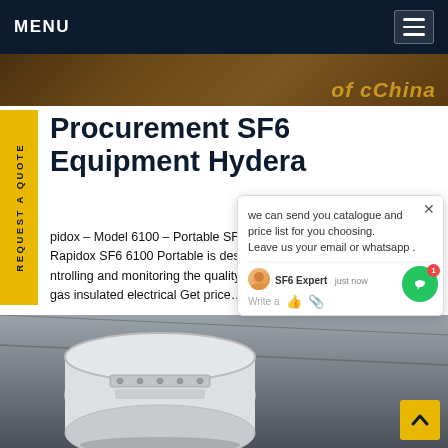MENU
[Figure (photo): Partial view of industrial equipment with brand text overlay reading 'of cChina' in stylized gold text on a dark background]
Procurement SF6 Equipment Hydera
pidox - Model 6100 - Portable SF6 ... er Rapidox SF6 6100 Portable is des... ntrolling and monitoring the quality ... gas insulated electrical Get price...
[Figure (photo): Large white SF6 electrical equipment unit photographed from below against a grey industrial ceiling background]
we can send you catalogue and price list for you choosing. Leave us your email or whatsapp .
SF6 Expert   just now
Write a